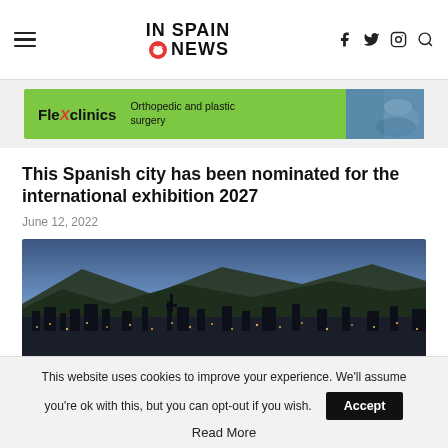IN SPAIN NEWS
[Figure (illustration): FlexClinics advertisement banner — green background with FlexClinics logo, text 'Orthopedic and plastic surgery', and a photo of a person's torso on the right]
This Spanish city has been nominated for the international exhibition 2027
June 12, 2022
[Figure (photo): Aerial night view of a Spanish city with mountains in the background and orange sunset sky]
This website uses cookies to improve your experience. We'll assume you're ok with this, but you can opt-out if you wish.
Accept
Read More